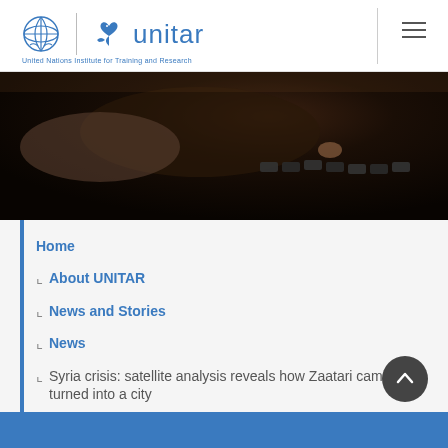UNITAR - United Nations Institute for Training and Research
[Figure (photo): Dark photo of a person's hand on a keyboard, lit from above, dark moody tone]
Home
About UNITAR
News and Stories
News
Syria crisis: satellite analysis reveals how Zaatari camp has turned into a city